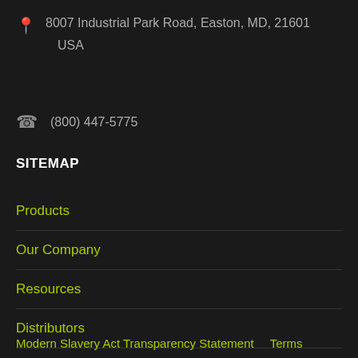8007 Industrial Park Road, Easton, MD, 21601
USA
(800) 447-5775
SITEMAP
Products
Our Company
Resources
Distributors
Other Brands We Love
Modern Slavery Act Transparency Statement    Terms